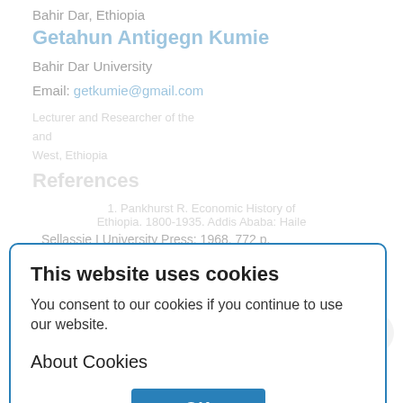Bahir Dar, Ethiopia
Getahun Antigegn Kumie
Bahir Dar University
Email: getkumie@gmail.com
Lecturer and Researcher of the
This website uses cookies
You consent to our cookies if you continue to use our website.
About Cookies
OK
References
1. Pankhurst R. Economic History of Ethiopia. 1800-1935. Addis Ababa: Haile Sellassie I University Press; 1968. 772 p.
2. Teshale T. The Making of Modern Ethiopia: 1896-1974. The Red Sea Press; 1995. 246 p. [3] Bahiru Z. A History of